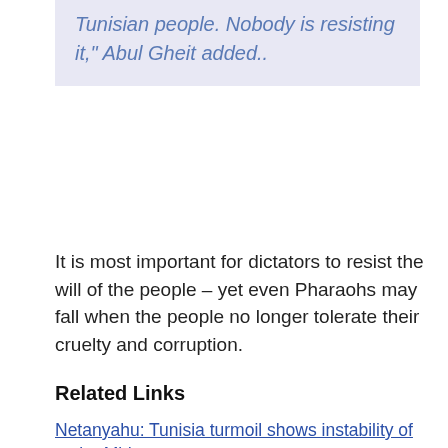Tunisian people. Nobody is resisting it," Abul Gheit added..
It is most important for dictators to resist the will of the people – yet even Pharaohs may fall when the people no longer tolerate their cruelty and corruption.
Related Links
Netanyahu: Tunisia turmoil shows instability of entire Mideast
Netanyahu seizes on Tunisian turmoil as yet another pretext for iron wall
Uneasy calm in Tunisia as power